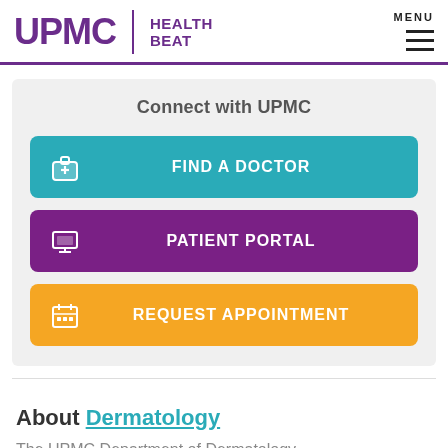UPMC HEALTH BEAT | MENU
Connect with UPMC
[Figure (infographic): Three call-to-action buttons: Find a Doctor (teal), Patient Portal (purple), Request Appointment (orange), each with icon]
About Dermatology
The UPMC Department of Dermatology